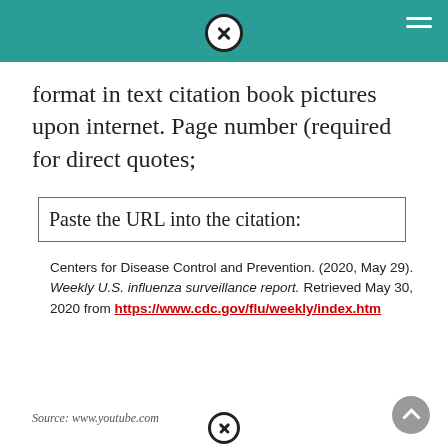format in text citation book pictures upon internet. Page number (required for direct quotes;
Paste the URL into the citation:
Centers for Disease Control and Prevention. (2020, May 29). Weekly U.S. influenza surveillance report. Retrieved May 30, 2020 from https://www.cdc.gov/flu/weekly/index.htm
Source: www.youtube.com